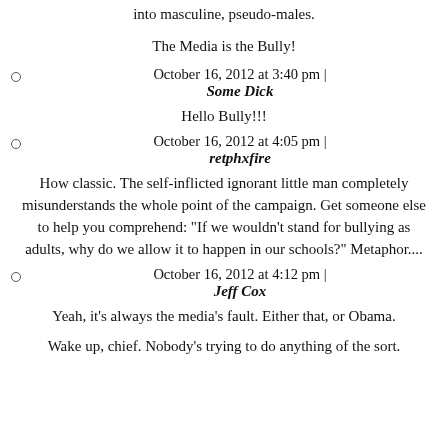into masculine, pseudo-males.
The Media is the Bully!
October 16, 2012 at 3:40 pm | Some Dick
Hello Bully!!!
October 16, 2012 at 4:05 pm | retphxfire
How classic. The self-inflicted ignorant little man completely misunderstands the whole point of the campaign. Get someone else to help you comprehend: "If we wouldn't stand for bullying as adults, why do we allow it to happen in our schools?" Metaphor....
October 16, 2012 at 4:12 pm | Jeff Cox
Yeah, it's always the media's fault. Either that, or Obama.
Wake up, chief. Nobody's trying to do anything of the sort.